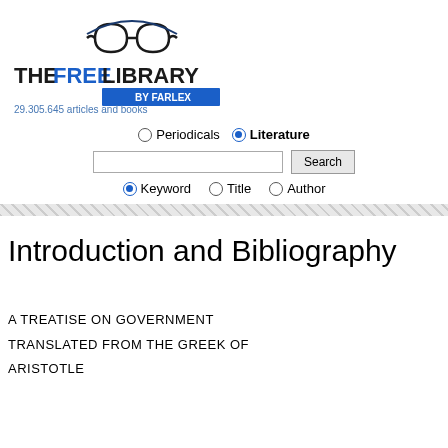[Figure (logo): The Free Library by Farlex logo with glasses icon and tagline '29,305,645 articles and books']
Periodicals  Literature (radio buttons search area with Keyword, Title, Author options and Search button)
Introduction and Bibliography
A TREATISE ON GOVERNMENT
TRANSLATED FROM THE GREEK OF
ARISTOTLE